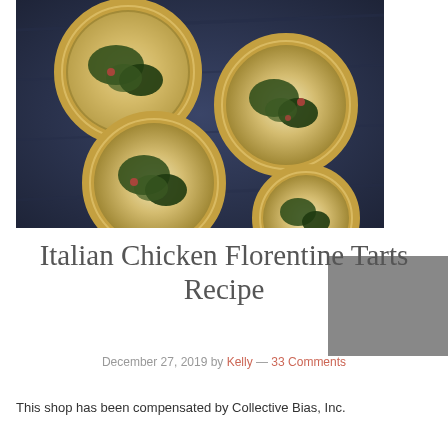[Figure (photo): Overhead photo of four Italian Chicken Florentine mini tarts on a dark slate surface, showing round pastry crusts filled with egg, cheese, greens and red pepper pieces]
Italian Chicken Florentine Tarts Recipe
December 27, 2019 by Kelly — 33 Comments
This shop has been compensated by Collective Bias, Inc.